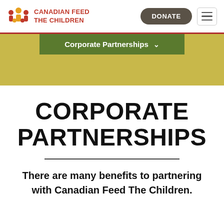CANADIAN FEED THE CHILDREN
Corporate Partnerships
CORPORATE PARTNERSHIPS
There are many benefits to partnering with Canadian Feed The Children.